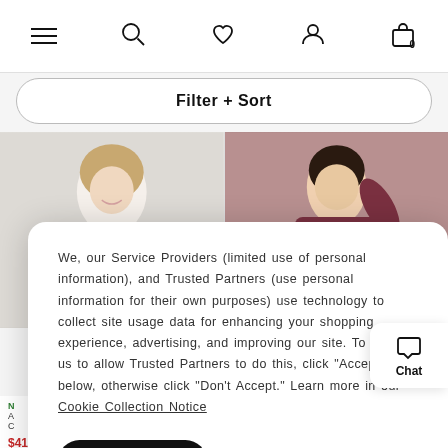Navigation bar with menu, search, wishlist, account, and bag icons
Filter + Sort
[Figure (photo): Two product photos side by side: left shows a woman in a white top smiling, right shows a woman in a dark maroon/burgundy oversized sweatshirt smiling]
We, our Service Providers (limited use of personal information), and Trusted Partners (use personal information for their own purposes) use technology to collect site usage data for enhancing your shopping experience, advertising, and improving our site. To direct us to allow Trusted Partners to do this, click “Accept” below, otherwise click “Don’t Accept.” Learn more in our Cookie Collection Notice
Accept
Don't Accept
N
A
C
$41.96  $59.95
versized
$41.96  $59.95